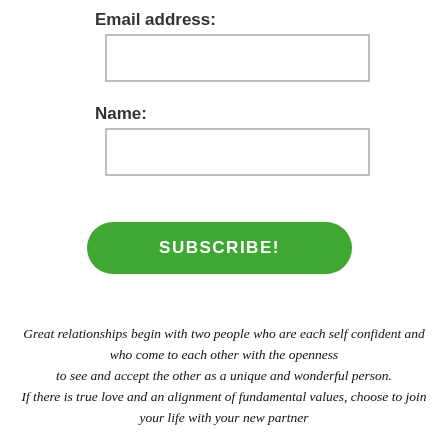Email address:
[Figure (other): Empty text input box for email address]
Name:
[Figure (other): Empty text input box for name]
SUBSCRIBE!
Great relationships begin with two people who are each self confident and who come to each other with the openness to see and accept the other as a unique and wonderful person. If there is true love and an alignment of fundamental values, choose to join your life with your new partner